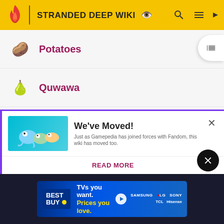STRANDED DEEP WIKI
Potatoes
Quwawa
Rations
Rawhide
We've Moved! Just as Gamepedia has joined forces with Fandom, this wiki has moved too.
READ MORE
[Figure (infographic): Best Buy advertisement: TVs you want. Prices you love. Samsung LG Sony TCL Hisense brands listed.]